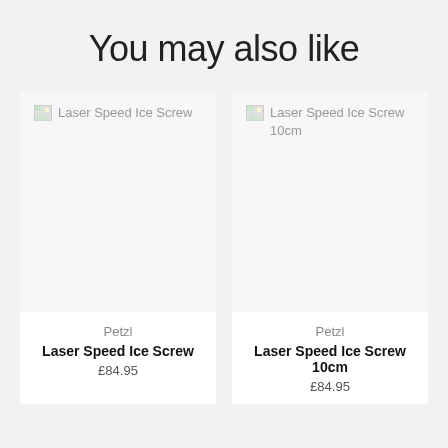You may also like
[Figure (photo): Broken image placeholder for Laser Speed Ice Screw product]
Petzl
Laser Speed Ice Screw
£84.95
[Figure (photo): Broken image placeholder for Laser Speed Ice Screw 10cm product]
Petzl
Laser Speed Ice Screw 10cm
£84.95